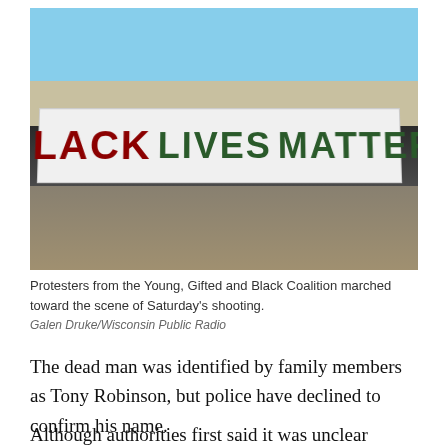[Figure (photo): Protesters from the Young, Gifted and Black Coalition marching toward the scene of Saturday's shooting, holding a large 'BLACK LIVES MATTER' banner on a street.]
Protesters from the Young, Gifted and Black Coalition marched toward the scene of Saturday's shooting.
Galen Druke/Wisconsin Public Radio
The dead man was identified by family members as Tony Robinson, but police have declined to confirm his name.
Although authorities first said it was unclear whether or not